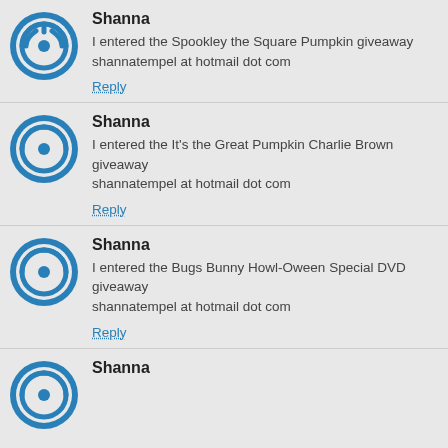Shanna
I entered the Spookley the Square Pumpkin giveaway
shannatempel at hotmail dot com
Reply
Shanna
I entered the It's the Great Pumpkin Charlie Brown giveaway
shannatempel at hotmail dot com
Reply
Shanna
I entered the Bugs Bunny Howl-Oween Special DVD giveaway
shannatempel at hotmail dot com
Reply
Shanna